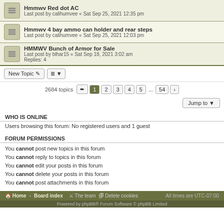Hmmwv Red dot AC - Last post by calihumvee « Sat Sep 25, 2021 12:35 pm
Hmmwv 4 bay ammo can holder and rear steps - Last post by calihumvee « Sat Sep 25, 2021 12:03 pm
HMMWV Bunch of Armor for Sale - Last post by blhar15 « Sat Sep 18, 2021 3:02 am - Replies: 4
New Topic | sort | 2684 topics | page 1 2 3 4 5 ... 54 | Jump to
WHO IS ONLINE
Users browsing this forum: No registered users and 1 guest
FORUM PERMISSIONS
You cannot post new topics in this forum
You cannot reply to topics in this forum
You cannot edit your posts in this forum
You cannot delete your posts in this forum
You cannot post attachments in this forum
Home • Board index | The team | Delete cookies | All times are UTC-07:00 | Powered by phpBB® Forum Software © phpBB Limited